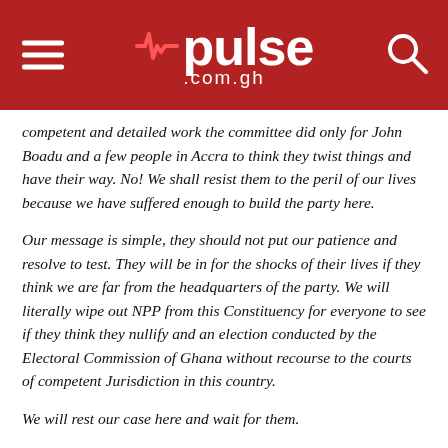pulse .com.gh
competent and detailed work the committee did only for John Boadu and a few people in Accra to think they twist things and have their way. No! We shall resist them to the peril of our lives because we have suffered enough to build the party here.
Our message is simple, they should not put our patience and resolve to test. They will be in for the shocks of their lives if they think we are far from the headquarters of the party. We will literally wipe out NPP from this Constituency for everyone to see if they think they nullify and an election conducted by the Electoral Commission of Ghana without recourse to the courts of competent Jurisdiction in this country.
We will rest our case here and wait for them.